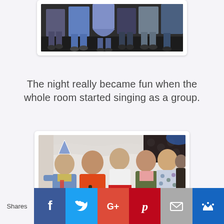[Figure (photo): Partial photo at top showing group of people from waist down, cropped]
The night really became fun when the whole room started singing as a group.
[Figure (photo): Group of women standing together at a party/event, one wearing a party hat and denim jacket, others in colorful outfits, smiling]
Shares [Facebook] [Twitter] [Google+] [Pinterest] [Email] [Crown]